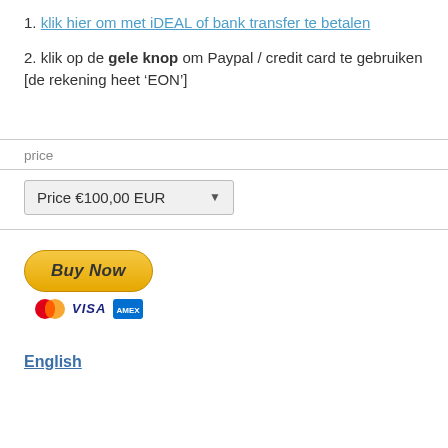1. klik hier om met iDEAL of bank transfer te betalen
2. klik op de gele knop om Paypal / credit card te gebruiken [de rekening heet ‘EON’]
price
[Figure (screenshot): Dropdown selector showing Price €100,00 EUR]
[Figure (screenshot): PayPal Buy Now button with Mastercard, VISA, and American Express card logos below]
English